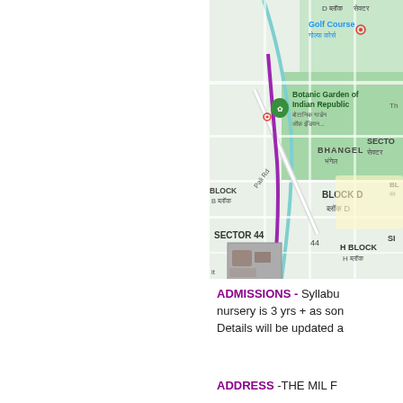[Figure (map): Google Maps screenshot showing area around Sector 44, BHANGEL, Block D, Golf Course, Botanic Garden of Indian Republic, H Block, with street/road overlay and a small thumbnail image pinned at Sector 44.]
ADMISSIONS - Syllabus nursery is 3 yrs + as son Details will be updated a
ADDRESS -THE MIL F